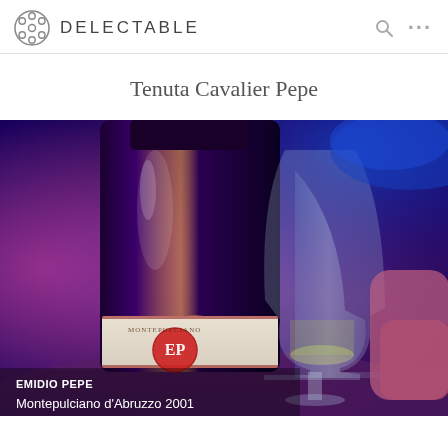DELECTABLE
Tenuta Cavalier Pepe
[Figure (photo): Photo of a wine bottle with label showing EMIDIO PEPE Montepulciano d'Abruzzo 2001 with an EP wax seal logo, alongside a wine glass, in a dimly lit bar setting with purple and blue lighting]
EMIDIO PEPE
Montepulciano d'Abruzzo 2001